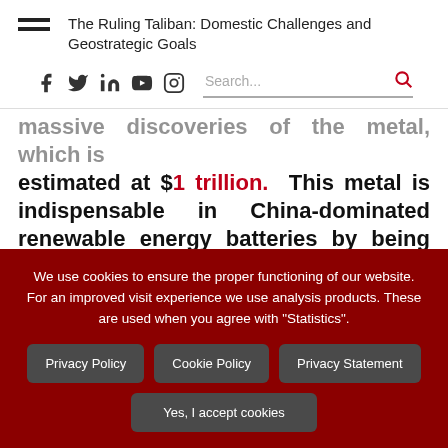The Ruling Taliban: Domestic Challenges and Geostrategic Goals
massive discoveries of the metal, which is estimated at $1 trillion. This metal is indispensable in China-dominated renewable energy batteries by being the world's largest lithium producer, putting Afghanistan in the cycle of a "clean
We use cookies to ensure the proper functioning of our website. For an improved visit experience we use analysis products. These are used when you agree with "Statistics".
Privacy Policy
Cookie Policy
Privacy Statement
Yes, I accept cookies